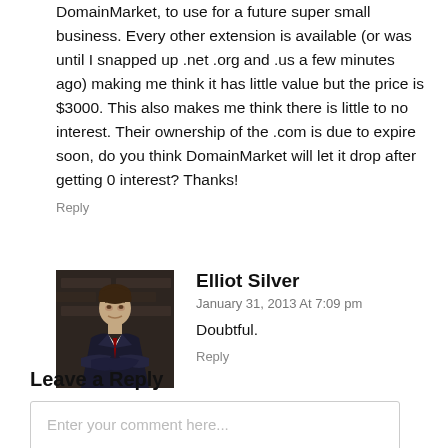DomainMarket, to use for a future super small business. Every other extension is available (or was until I snapped up .net .org and .us a few minutes ago) making me think it has little value but the price is $3000. This also makes me think there is little to no interest. Their ownership of the .com is due to expire soon, do you think DomainMarket will let it drop after getting 0 interest? Thanks!
Reply
[Figure (photo): Profile photo of Elliot Silver, a man in a suit with arms crossed, dark background]
Elliot Silver
January 31, 2013 At 7:09 pm
Doubtful.
Reply
Leave a Reply
Enter your comment here...